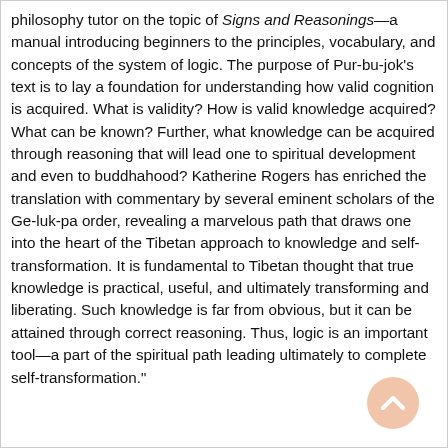philosophy tutor on the topic of Signs and Reasonings—a manual introducing beginners to the principles, vocabulary, and concepts of the system of logic. The purpose of Pur-bu-jok's text is to lay a foundation for understanding how valid cognition is acquired. What is validity? How is valid knowledge acquired? What can be known? Further, what knowledge can be acquired through reasoning that will lead one to spiritual development and even to buddhahood? Katherine Rogers has enriched the translation with commentary by several eminent scholars of the Ge-luk-pa order, revealing a marvelous path that draws one into the heart of the Tibetan approach to knowledge and self-transformation. It is fundamental to Tibetan thought that true knowledge is practical, useful, and ultimately transforming and liberating. Such knowledge is far from obvious, but it can be attained through correct reasoning. Thus, logic is an important tool—a part of the spiritual path leading ultimately to complete self-transformation."